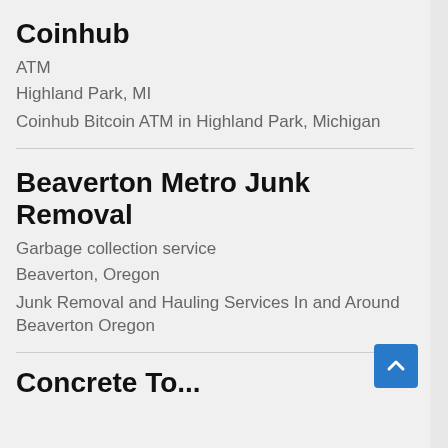Coinhub
ATM
Highland Park, MI
Coinhub Bitcoin ATM in Highland Park, Michigan
Beaverton Metro Junk Removal
Garbage collection service
Beaverton, Oregon
Junk Removal and Hauling Services In and Around Beaverton Oregon
Concrete To...